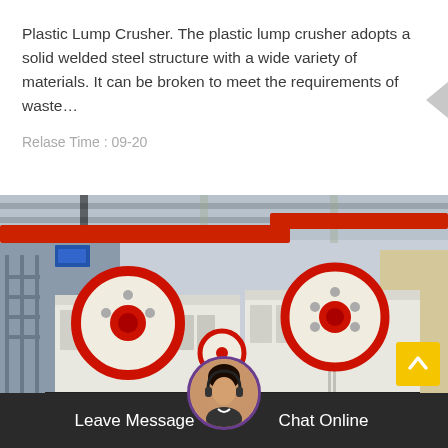Plastic Lump Crusher. The plastic lump crusher adopts a solid welded steel structure with a wide variety of materials. It can be broken to meet the requirements of waste…
Relase Time : 09-20
[Figure (photo): Industrial jaw crusher machinery with large red-rimmed flywheels, white body, displayed inside a factory building with red overhead crane beams]
Leave Message
Chat Online